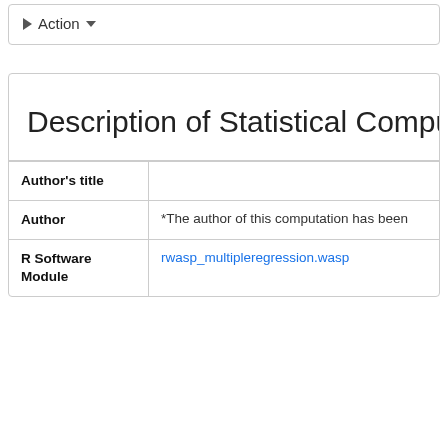▶ Action ▾
Description of Statistical Computat…
| Field | Value |
| --- | --- |
| Author's title |  |
| Author | *The author of this computation has been … |
| R Software Module | rwasp_multipleregression.wasp |